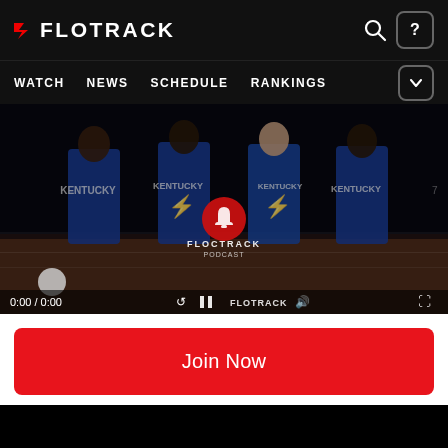FLOTRACK — WATCH | NEWS | SCHEDULE | RANKINGS
[Figure (screenshot): Video player showing four Kentucky women's track athletes in blue uniforms posing together on a track at night. Video controls show 0:00 / 0:00 with FloTrack watermark overlay.]
Join Now